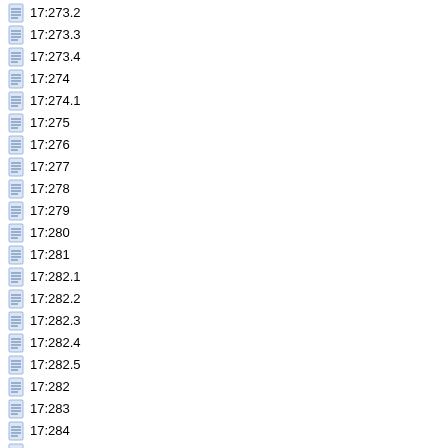17:273.2
17:273.3
17:273.4
17:274
17:274.1
17:275
17:276
17:277
17:278
17:279
17:280
17:281
17:282.1
17:282.2
17:282.3
17:282.4
17:282.5
17:282
17:283
17:284
17:285
17:285.1